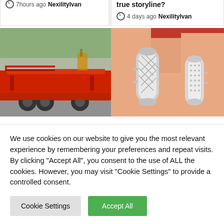7 hours ago  NexilityIvan
true storyline?
4 days ago  NexilityIvan
[Figure (photo): Red flatbed trailer/lowboy on a lot, outdoor setting with trees in background]
[Figure (photo): Two silver barrel clasp jewelry findings held in a hand against a red background]
We use cookies on our website to give you the most relevant experience by remembering your preferences and repeat visits. By clicking "Accept All", you consent to the use of ALL the cookies. However, you may visit "Cookie Settings" to provide a controlled consent.
Cookie Settings
Accept All